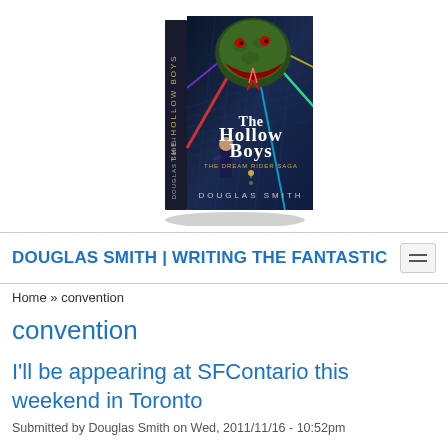[Figure (photo): Book cover of 'The Hollow Boys' by Douglas Smith, showing a fantasy scene with a large serpent creature and a figure, with colorful laser beams and city backdrop. The book is shown in 3D perspective with spine visible.]
DOUGLAS SMITH | WRITING THE FANTASTIC
Home » convention
convention
I'll be appearing at SFContario this weekend in Toronto
Submitted by Douglas Smith on Wed, 2011/11/16 - 10:52pm